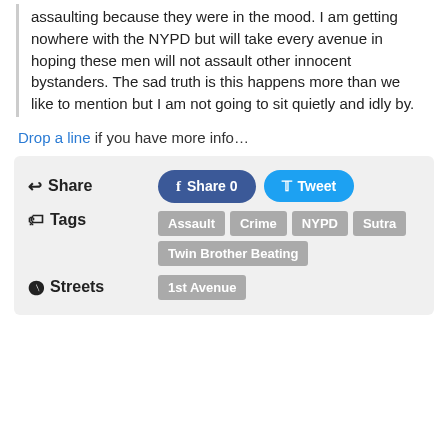assaulting because they were in the mood. I am getting nowhere with the NYPD but will take every avenue in hoping these men will not assault other innocent bystanders. The sad truth is this happens more than we like to mention but I am not going to sit quietly and idly by.
Drop a line if you have more info…
[Figure (screenshot): Share section with Facebook Share 0 and Tweet buttons, Tags (Assault, Crime, NYPD, Sutra, Twin Brother Beating), and Streets (1st Avenue)]